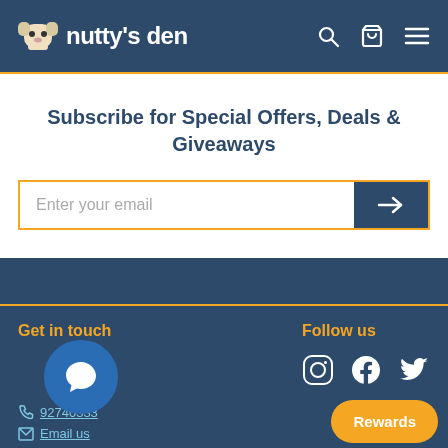nutty's den
Subscribe for Special Offers, Deals & Giveaways
Enter your email
Get in touch
92740333
Email us
Follow us
Rewards